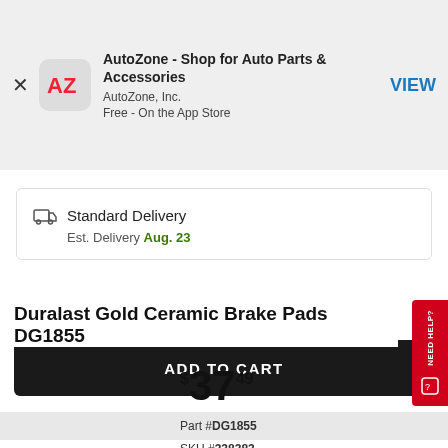[Figure (screenshot): AutoZone app banner with AZ icon, app title, publisher, and VIEW button]
Standard Delivery
Est. Delivery Aug. 23
ADD TO CART
Duralast Gold Ceramic Brake Pads DG1855
$37.49
Part #DG1855
SKU #338383